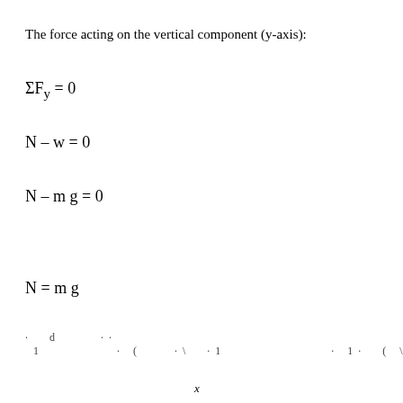The force acting on the vertical component (y-axis):
· d · 1 · · 1 · ( · \ ·1 · · 1 · ( \ · 1